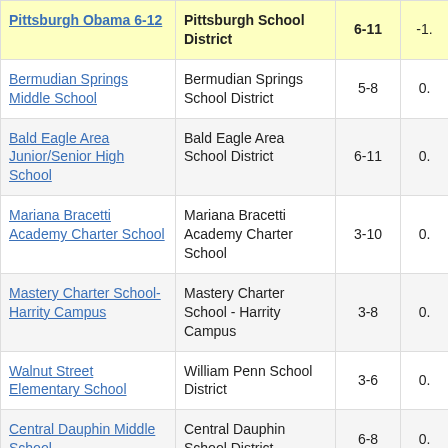| School | District | Grades | Value |
| --- | --- | --- | --- |
| Pittsburgh Obama 6-12 | Pittsburgh School District | 6-11 | -1. |
| Bermudian Springs Middle School | Bermudian Springs School District | 5-8 | 0. |
| Bald Eagle Area Junior/Senior High School | Bald Eagle Area School District | 6-11 | 0. |
| Mariana Bracetti Academy Charter School | Mariana Bracetti Academy Charter School | 3-10 | 0. |
| Mastery Charter School-Harrity Campus | Mastery Charter School - Harrity Campus | 3-8 | 0. |
| Walnut Street Elementary School | William Penn School District | 3-6 | 0. |
| Central Dauphin Middle School | Central Dauphin School District | 6-8 | 0. |